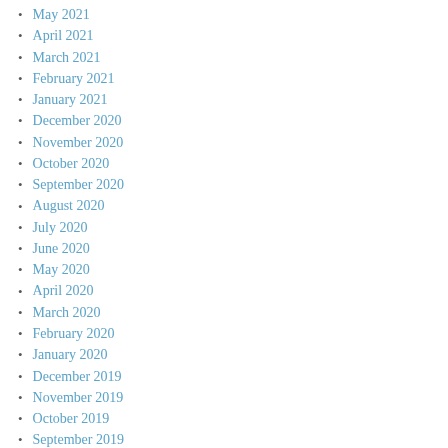May 2021
April 2021
March 2021
February 2021
January 2021
December 2020
November 2020
October 2020
September 2020
August 2020
July 2020
June 2020
May 2020
April 2020
March 2020
February 2020
January 2020
December 2019
November 2019
October 2019
September 2019
August 2019
July 2019
June 2019
May 2019
April 2019
March 2019